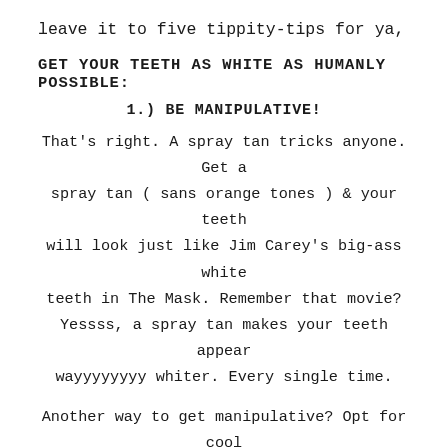leave it to five tippity-tips for ya,
GET YOUR TEETH AS WHITE AS HUMANLY POSSIBLE:
1.) BE MANIPULATIVE!
That's right. A spray tan tricks anyone. Get a spray tan ( sans orange tones ) & your teeth will look just like Jim Carey's big-ass white teeth in The Mask. Remember that movie? Yessss, a spray tan makes your teeth appear wayyyyyyyy whiter. Every single time.
Another way to get manipulative? Opt for cool tones in your makeup- don't go with reddish-orange lip liner- it brings out reddish-orange